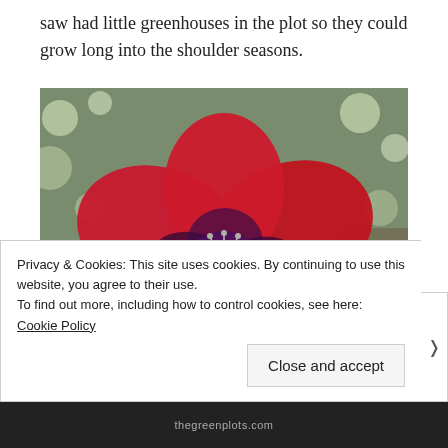saw had little greenhouses in the plot so they could grow long into the shoulder seasons.
[Figure (photo): Close-up photograph of a red poppy flower with water droplets on the petals, dark purple center markings, green seed pod, and blurred bokeh background.]
Privacy & Cookies: This site uses cookies. By continuing to use this website, you agree to their use.
To find out more, including how to control cookies, see here: Cookie Policy
Close and accept